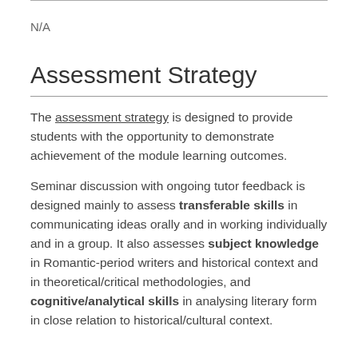N/A
Assessment Strategy
The assessment strategy is designed to provide students with the opportunity to demonstrate achievement of the module learning outcomes.
Seminar discussion with ongoing tutor feedback is designed mainly to assess transferable skills in communicating ideas orally and in working individually and in a group. It also assesses subject knowledge in Romantic-period writers and historical context and in theoretical/critical methodologies, and cognitive/analytical skills in analysing literary form in close relation to historical/cultural context.